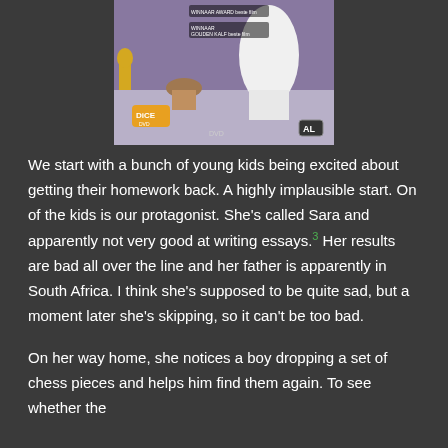[Figure (photo): DVD cover image showing animated or costumed characters on a stage-like setting with award labels. Includes 'DICE DVD' logo, 'DVD' label, and 'AL' rating badge.]
We start with a bunch of young kids being excited about getting their homework back. A highly implausible start. On of the kids is our protagonist. She's called Sara and apparently not very good at writing essays.³ Her results are bad all over the line and her father is apparently in South Africa. I think she's supposed to be quite sad, but a moment later she's skipping, so it can't be too bad.
On her way home, she notices a boy dropping a set of chess pieces and helps him find them again. To see whether the